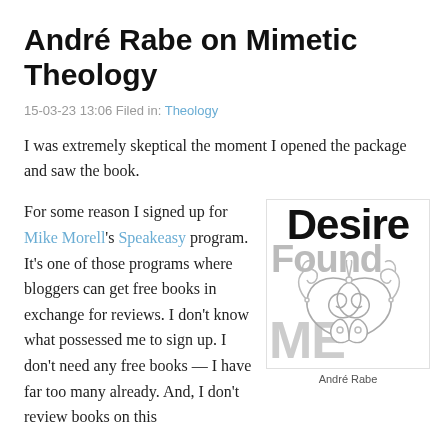André Rabe on Mimetic Theology
15-03-23 13:06 Filed in: Theology
I was extremely skeptical the moment I opened the package and saw the book.
For some reason I signed up for Mike Morell's Speakeasy program. It's one of those programs where bloggers can get free books in exchange for reviews. I don't know what possessed me to sign up. I don't need any free books — I have far too many already. And, I don't review books on this
[Figure (illustration): Book cover of 'Desire Found Me' by André Rabe, showing large bold text 'Desire' in black at top, 'Found' in gray behind an ornamental curly flourish design, 'ME' in large gray letters at bottom, with 'André Rabe' caption below.]